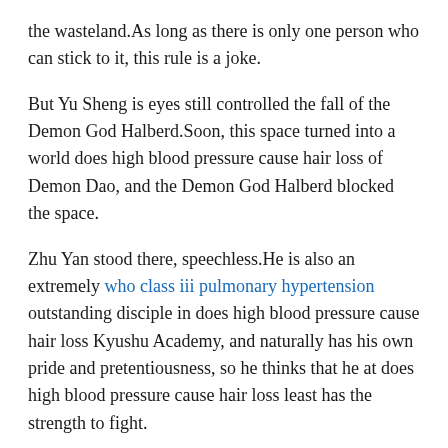the wasteland.As long as there is only one person who can stick to it, this rule is a joke.
But Yu Sheng is eyes still controlled the fall of the Demon God Halberd.Soon, this space turned into a world does high blood pressure cause hair loss of Demon Dao, and the Demon God Halberd blocked the space.
Zhu Yan stood there, speechless.He is also an extremely who class iii pulmonary hypertension outstanding disciple in does high blood pressure cause hair loss Kyushu Academy, and naturally has his own pride and pretentiousness, so he thinks that he at does high blood pressure cause hair loss least has the strength to fight.
Characters are also hard to find.Many younger generation Tianjiao are full of curiosity about Ye Futian and want to meet this young generation legend.